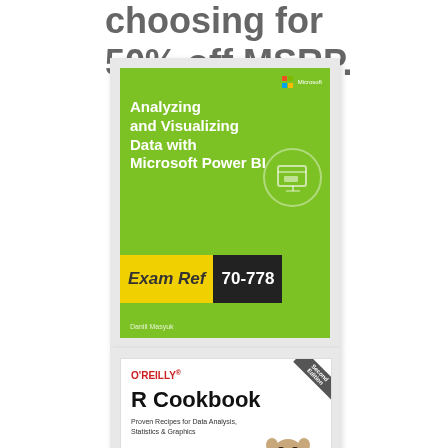choosing for 50% off MSRP.
[Figure (photo): Book cover: Exam Ref 70-778 - Analyzing and Visualizing Data with Microsoft Power BI, by David Maryut. Green cover with Microsoft branding, yellow and black Exam Ref banner at bottom.]
[Figure (photo): Book cover: R Cookbook by O'Reilly, Second Edition. White cover with red O'Reilly branding, featuring an image of an animal (potto/primate) and subtitle 'Proven Recipes for Data Analysis, Statistics & Graphics'.]